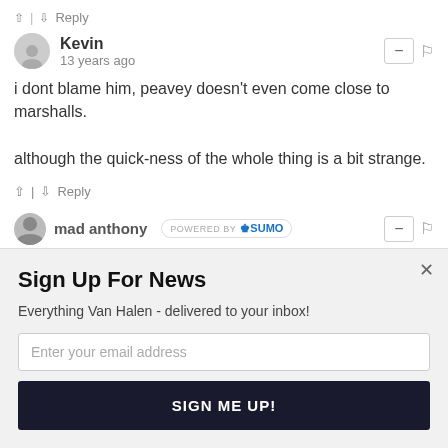^ | v Reply
Kevin
13 years ago
i dont blame him, peavey doesn't even come close to marshalls.

although the quick-ness of the whole thing is a bit strange.
^ | v Reply
mad anthony  POWERED BY SUMO
Sign Up For News
Everything Van Halen - delivered to your inbox!
Enter your email address
SIGN ME UP!